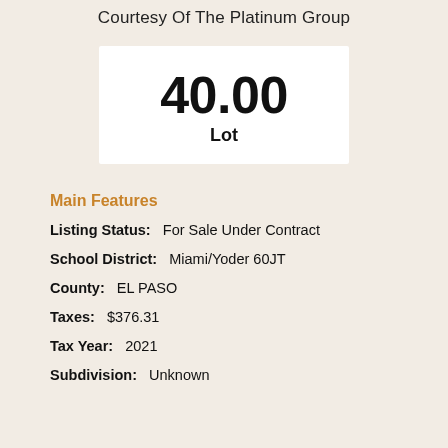Courtesy Of The Platinum Group
[Figure (other): White box displaying lot number 40.00 and label Lot]
Main Features
Listing Status: For Sale Under Contract
School District: Miami/Yoder 60JT
County: EL PASO
Taxes: $376.31
Tax Year: 2021
Subdivision: Unknown